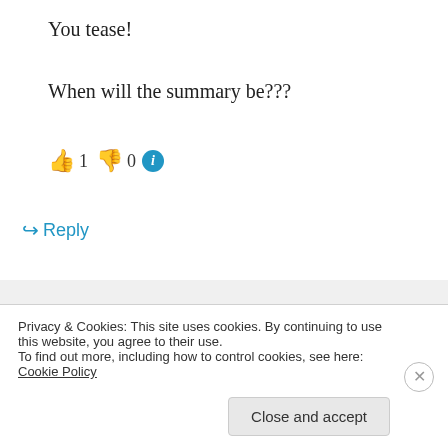You tease!
When will the summary be???
👍 1 👎 0 ℹ
↪ Reply
Mercedes on October 27, 2014 at 8:51 pm
Like I said in the article, a week or two less the number of days since I posted the
Privacy & Cookies: This site uses cookies. By continuing to use this website, you agree to their use. To find out more, including how to control cookies, see here: Cookie Policy
Close and accept